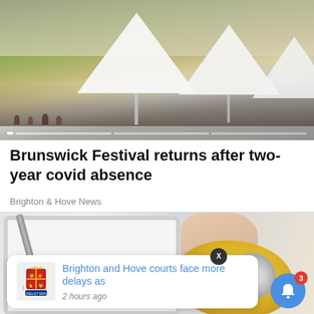[Figure (photo): Outdoor festival scene with white tents and crowd in background]
Brunswick Festival returns after two-year covid absence
Brighton & Hove News
[Figure (photo): Person wearing yellow rubber gloves cleaning a sink drain]
Brighton and Hove courts face more delays as
2 hours ago